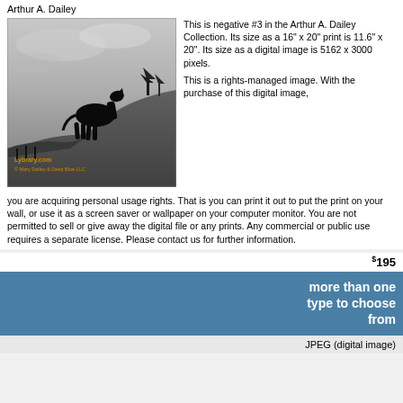Arthur A. Dailey
[Figure (photo): Black and white photo of a horse silhouette standing on a hillside with trees in the background. Watermark text: Lybrary.com © Mary Dailey & Deep Blue LLC]
This is negative #3 in the Arthur A. Dailey Collection. Its size as a 16" x 20" print is 11.6" x 20". Its size as a digital image is 5162 x 3000 pixels.

This is a rights-managed image. With the purchase of this digital image, you are acquiring personal usage rights. That is you can print it out to put the print on your wall, or use it as a screen saver or wallpaper on your computer monitor. You are not permitted to sell or give away the digital file or any prints. Any commercial or public use requires a separate license. Please contact us for further information.
$195
more than one type to choose from
JPEG (digital image)